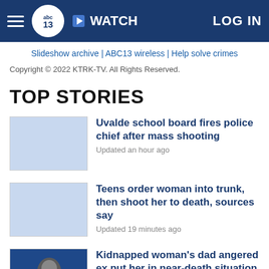ABC13 | WATCH | LOG IN
Slideshow archive | ABC13 wireless | Help solve crimes
Copyright © 2022 KTRK-TV. All Rights Reserved.
TOP STORIES
[Figure (photo): Thumbnail placeholder (blue) for Uvalde school board story]
Uvalde school board fires police chief after mass shooting
Updated an hour ago
[Figure (photo): Thumbnail placeholder (blue) for teens order woman story]
Teens order woman into trunk, then shoot her to death, sources say
Updated 19 minutes ago
[Figure (photo): Photo thumbnail showing a man's face, dark background with blue tones, for kidnapped woman's dad story]
Kidnapped woman's dad angered ex put her in near-death situation
Updated 2 hours ago